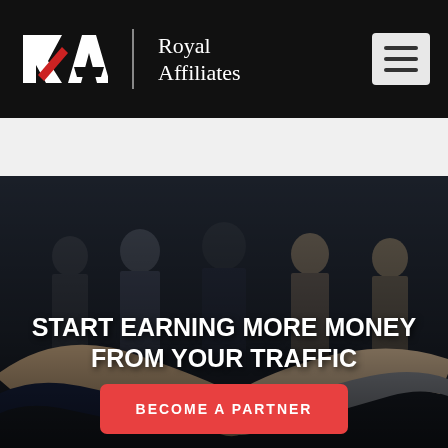Royal Affiliates
[Figure (photo): Hero image showing business people shaking hands in the foreground with a group of professionals standing in the background, overlaid with bold white text and a red CTA button]
START EARNING MORE MONEY FROM YOUR TRAFFIC
BECOME A PARTNER